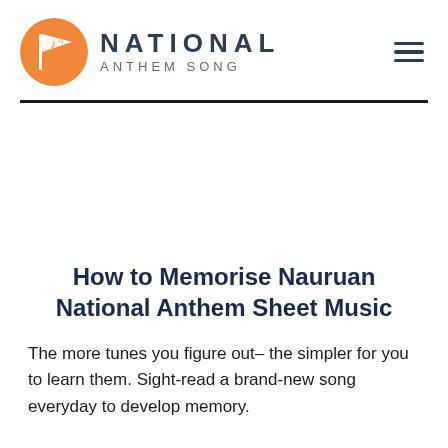NATIONAL ANTHEM SONG
How to Memorise Nauruan National Anthem Sheet Music
The more tunes you figure out– the simpler for you to learn them. Sight-read a brand-new song everyday to develop memory.